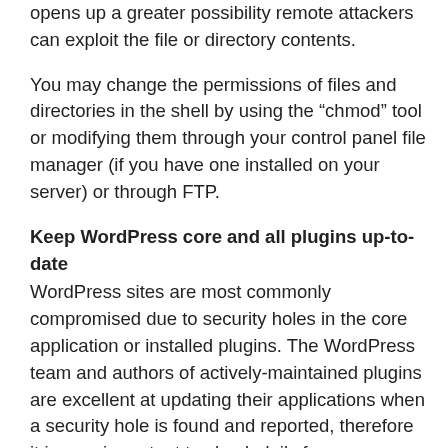opens up a greater possibility remote attackers can exploit the file or directory contents.
You may change the permissions of files and directories in the shell by using the “chmod” tool or modifying them through your control panel file manager (if you have one installed on your server) or through FTP.
Keep WordPress core and all plugins up-to-date
WordPress sites are most commonly compromised due to security holes in the core application or installed plugins. The WordPress team and authors of actively-maintained plugins are excellent at updating their applications when a security hole is found and reported, therefore it is very important to check daily for any updates that may be available.
This applies to not only activated plugins but deactivated plugins as well. You should never allow